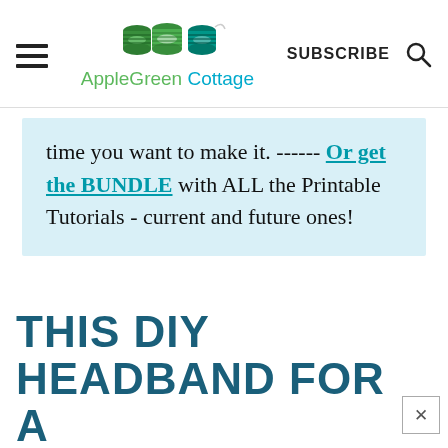AppleGreen Cottage — SUBSCRIBE
time you want to make it. ------ Or get the BUNDLE with ALL the Printable Tutorials - current and future ones!
THIS DIY HEADBAND FOR A BABY IS EASY TO SEW!